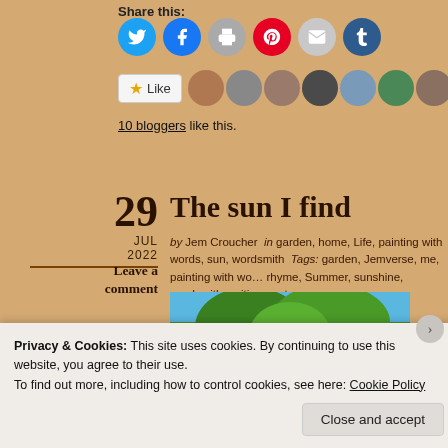Share this:
[Figure (infographic): Social sharing buttons: Twitter (blue), Facebook (blue), Print (gray), Pinterest (red), Email (light gray), Tumblr (dark blue)]
[Figure (infographic): Like button with star icon and 10 blogger avatars]
10 bloggers like this.
The sun I find
29 JUL 2022
Leave a comment
by Jem Croucher  in garden, home, Life, painting with words, sun, wordsmith  Tags: garden, Jemverse, me, painting with words, rhyme, Summer, sunshine, wordsmith, writing poetry
[Figure (photo): Outdoor photo showing blue sky and green trees]
Privacy & Cookies: This site uses cookies. By continuing to use this website, you agree to their use.
To find out more, including how to control cookies, see here: Cookie Policy
Close and accept